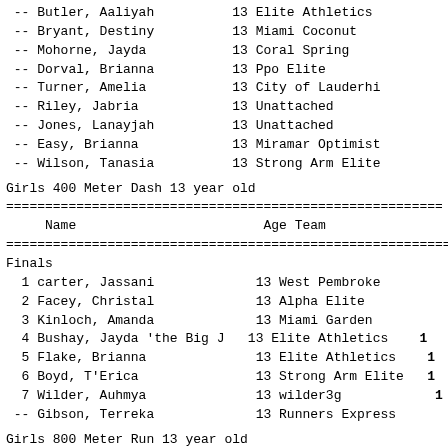-- Butler, Aaliyah          13 Elite Athletics
-- Bryant, Destiny          13 Miami Coconut
-- Mohorne, Jayda           13 Coral Spring
-- Dorval, Brianna          13 Ppo Elite
-- Turner, Amelia           13 City of Lauderhi
-- Riley, Jabria            13 Unattached
-- Jones, Lanayjah          13 Unattached
-- Easy, Brianna            13 Miramar Optimist
-- Wilson, Tanasia          13 Strong Arm Elite
Girls 400 Meter Dash 13 year old
| Name | Age | Team |
| --- | --- | --- |
| carter, Jassani | 13 | West Pembroke |
| Facey, Christal | 13 | Alpha Elite |
| Kinloch, Amanda | 13 | Miami Garden |
| Bushay, Jayda 'the Big J | 13 | Elite Athletics |
| Flake, Brianna | 13 | Elite Athletics |
| Boyd, T'Erica | 13 | Strong Arm Elite |
| Wilder, Auhmya | 13 | wilder3g |
| Gibson, Terreka | 13 | Runners Express |
Girls 800 Meter Run 13 year old
| Name | Age | Team |
| --- | --- | --- |
| Walkes, Saraiah | 13 | Academy Maximum |
| Facey, Christal | 13 | Alpha Elite |
| Kinloch, Amanda | 13 | Miami Garden |